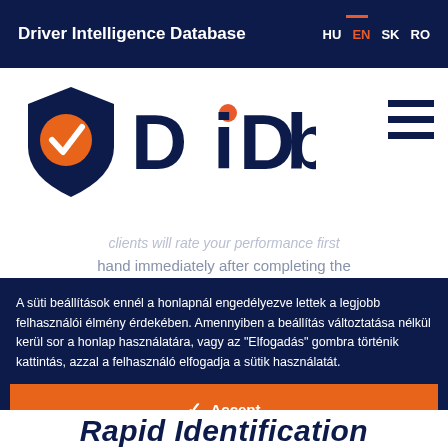Driver Intelligence Database | HU EN SK RO
[Figure (logo): DiDb logo: dark navy shield with orange circle and white checkmark, next to 'DiDb' text in dark navy]
clients will rate your performance first hand immediately after completing the
A süti beállítások ennél a honlapnál engedélyezve lettek a legjobb felhasználói élmény érdekében. Amennyiben a beállítás változtatása nélkül kerül sor a honlap használatára, vagy az "Elfogadás" gombra történik kattintás, azzal a felhasználó elfogadja a sütik használatát.
✓  Accept
Change Settings  ⚙
Rapid Identification